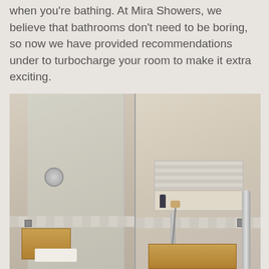when you're bathing. At Mira Showers, we believe that bathrooms don't need to be boring, so now we have provided recommendations under to turbocharge your room to make it extra exciting.
[Figure (photo): A modern bathroom shower with glass panel dividing the space. Left side shows a glass enclosure with a round shower head and wooden bench at the bottom. Right side shows a wall niche with small tiles, a dark bottle and soap dish on the shelf, a handheld shower fixture, and a wooden bench seat at the bottom. Walls are neutral beige/cream tiled with a decorative tile stripe border.]